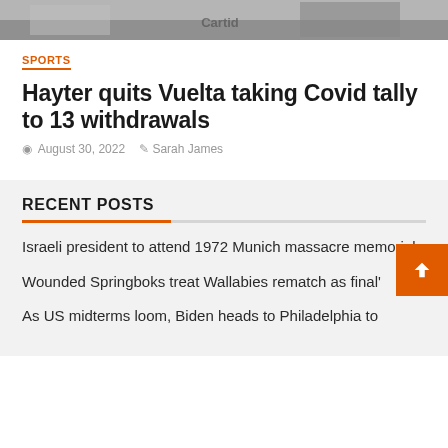[Figure (photo): A cropped photo showing people in sports jerseys, partly visible at the top of the page.]
SPORTS
Hayter quits Vuelta taking Covid tally to 13 withdrawals
August 30, 2022   Sarah James
RECENT POSTS
Israeli president to attend 1972 Munich massacre memorial
Wounded Springboks treat Wallabies rematch as final'
As US midterms loom, Biden heads to Philadelphia to